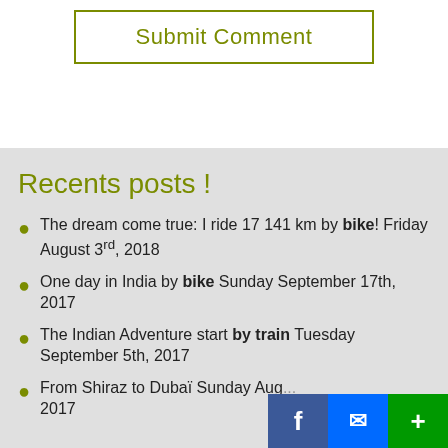Submit Comment
Recents posts !
The dream come true: I ride 17 141 km by bike! Friday August 3rd, 2018
One day in India by bike Sunday September 17th, 2017
The Indian Adventure start by train Tuesday September 5th, 2017
From Shiraz to Dubaï Sunday Aug... 2017